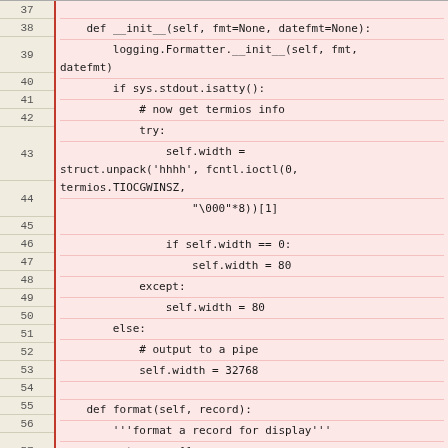Source code listing showing Python class method definitions for __init__ and format, lines 37-63
| Line | Code |
| --- | --- |
| 37 |  |
| 38 |     def __init__(self, fmt=None, datefmt=None): |
| 39 |         logging.Formatter.__init__(self, fmt, datefmt) |
| 40 |         if sys.stdout.isatty(): |
| 41 |             # now get termios info |
| 42 |             try: |
| 43 |                 self.width = struct.unpack('hhhh', fcntl.ioctl(0, termios.TIOCGWINSZ, |
| 44 |                     "\000"*8))[1] |
| 45 |                 if self.width == 0: |
| 46 |                     self.width = 80 |
| 47 |             except: |
| 48 |                 self.width = 80 |
| 49 |         else: |
| 50 |             # output to a pipe |
| 51 |             self.width = 32768 |
| 52 |  |
| 53 |     def format(self, record): |
| 54 |         '''format a record for display''' |
| 55 |         returns = [] |
| 56 |         line_len = self.width |
| 57 |         if type(record.msg) in types.StringTypes: |
| 58 |             for line in record.msg.split('\n'): |
| 59 |                 if len(line) <= line_len: |
| 60 |                     returns.append(line) |
| 61 |                 else: |
| 62 |                     inner_lines = int(math.floor(float(len(line)) / line_len))+1 |
| 63 |                 for i in xrange(inner_lines): |